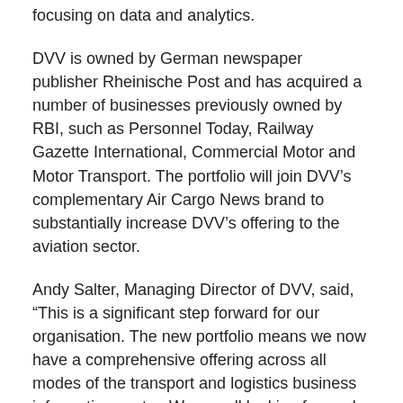focusing on data and analytics.
DVV is owned by German newspaper publisher Rheinische Post and has acquired a number of businesses previously owned by RBI, such as Personnel Today, Railway Gazette International, Commercial Motor and Motor Transport. The portfolio will join DVV's complementary Air Cargo News brand to substantially increase DVV's offering to the aviation sector.
Andy Salter, Managing Director of DVV, said, “This is a significant step forward for our organisation. The new portfolio means we now have a comprehensive offering across all modes of the transport and logistics business information sector. We are all looking forward to working with the new team to build on the legacy of these products and develop a thriving market offering.”